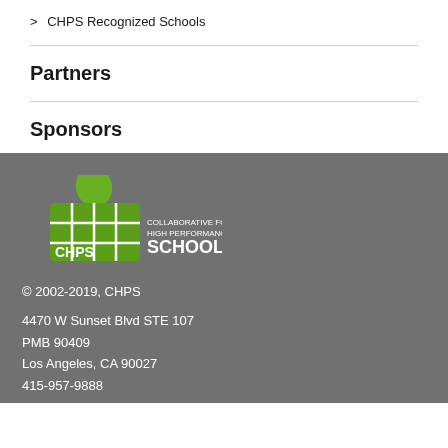> CHPS Recognized Schools
Partners
Sponsors
[Figure (logo): CHPS - Collaborative for High Performance Schools logo with green apple/leaf icon on grey background]
© 2002-2019, CHPS
4470 W Sunset Blvd STE 107
PMB 90409
Los Angeles, CA 90027
415-957-9888